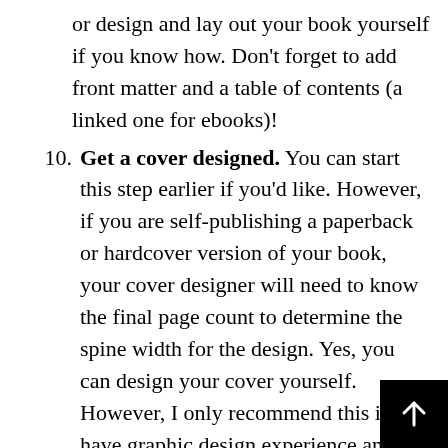or design and lay out your book yourself if you know how. Don't forget to add front matter and a table of contents (a linked one for ebooks)!
10. Get a cover designed. You can start this step earlier if you'd like. However, if you are self-publishing a paperback or hardcover version of your book, your cover designer will need to know the final page count to determine the spine width for the design. Yes, you can design your cover yourself. However, I only recommend this if you have graphic design experience and really know what you are doing. The cover is the first thing that a potential reader sees. Investing in a good cover designer will boost those original sales before reviews start to come in.